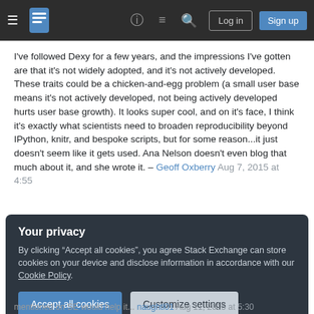Stack Exchange navigation bar with logo, help, chat, search, Log in, Sign up
I've followed Dexy for a few years, and the impressions I've gotten are that it's not widely adopted, and it's not actively developed. These traits could be a chicken-and-egg problem (a small user base means it's not actively developed, not being actively developed hurts user base growth). It looks super cool, and on it's face, I think it's exactly what scientists need to broaden reproducibility beyond IPython, knitr, and bespoke scripts, but for some reason...it just doesn't seem like it gets used. Ana Nelson doesn't even blog that much about it, and she wrote it. – Geoff Oxberry Aug 7, 2015 at 4:55
Your privacy
By clicking "Accept all cookies", you agree Stack Exchange can store cookies on your device and disclose information in accordance with our Cookie Policy.
Accept all cookies
Customize settings
mentioned on SE would help it... naughtl01 Aug 11, 2015 at 5:30